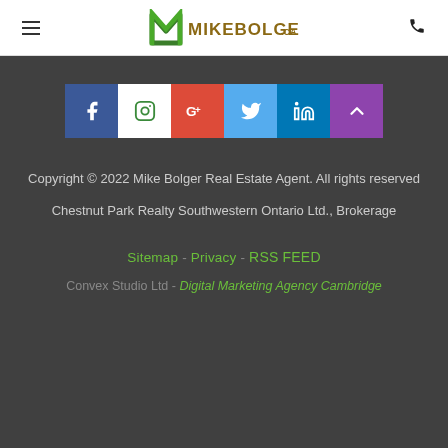MikeBolger.ca header with hamburger menu, logo, and phone icon
[Figure (infographic): Row of 6 social media icon buttons: Facebook (blue), Instagram (white), Google+ (red), Twitter (blue), LinkedIn (blue), Up/share (purple)]
Copyright © 2022 Mike Bolger Real Estate Agent. All rights reserved
Chestnut Park Realty Southwestern Western Ontario Ltd., Brokerage
Sitemap - Privacy - RSS FEED
Convex Studio Ltd - Digital Marketing Agency Cambridge